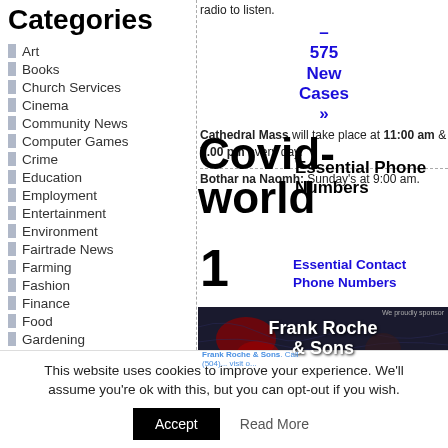Categories
Art
Books
Church Services
Cinema
Community News
Computer Games
Crime
Education
Employment
Entertainment
Environment
Fairtrade News
Farming
Fashion
Finance
Food
Gardening
General
Good Deals
radio to listen.
– 575 New Cases »
Cathedral Mass will take place at 11:00 am & 7.00 pm every day.
Bothar na Naomh: Sunday's at 9:00 am.
Covid-world
Essential Phone Numbers
1
Essential Contact Phone Numbers
[Figure (photo): Dark map background with Frank Roche & Sons advertisement overlay showing world map with red highlighted regions]
We proudly sponsor
Frank Roche & Sons
Frank Roche & Sons. Call (504)... visit o...
This website uses cookies to improve your experience. We'll assume you're ok with this, but you can opt-out if you wish.
Accept
Read More